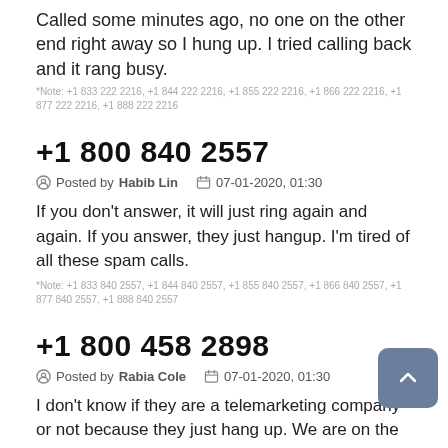Called some minutes ago, no one on the other end right away so I hung up. I tried calling back and it rang busy.
*Note: +1 833 222 2216, +1 844 222 2216, +1 855 222 2216, +1 866 222 2216, +1 877 222 2216, +1 888 222 2216
+1 800 840 2557
Posted by Habib Lin   07-01-2020, 01:30
If you don't answer, it will just ring again and again. If you answer, they just hangup. I'm tired of all these spam calls.
*Note: +1 833 840 2557, +1 844 840 2557, +1 855 840 2557, +1 866 840 2557, +1 877 840 2557, +1 888 840 2557
+1 800 458 2898
Posted by Rabia Cole   07-01-2020, 01:30
I don't know if they are a telemarketing company or not because they just hang up. We are on the national dnc list but this list is crap when i spend so much of my time